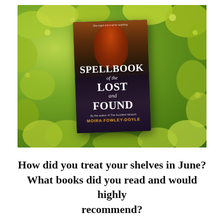[Figure (photo): A paperback book titled 'Spellbook of the Lost and Found' by Moira Fowley-Doyle, photographed on a bed of bright yellow-green foliage. The book cover shows a girl with long red hair against a dark background.]
How did you treat your shelves in June? What books did you read and would highly recommend?